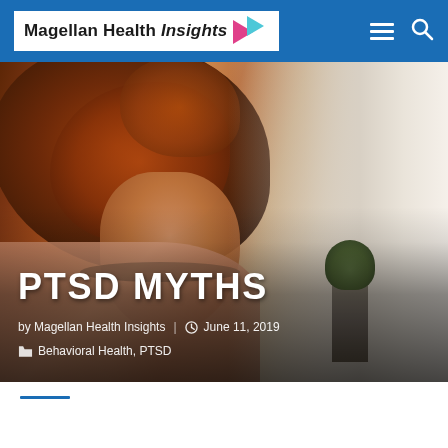Magellan Health Insights
[Figure (photo): A woman with curly auburn hair, head bowed, touching her forehead with one hand in a stressed or contemplative pose, seated indoors with soft window light in background.]
PTSD MYTHS
by Magellan Health Insights  |  June 11, 2019
Behavioral Health, PTSD